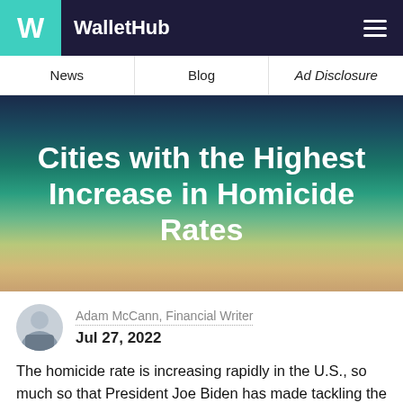WalletHub
News | Blog | Ad Disclosure
Cities with the Highest Increase in Homicide Rates
Adam McCann, Financial Writer
Jul 27, 2022
The homicide rate is increasing rapidly in the U.S., so much so that President Joe Biden has made tackling the problem a priority and spoke in his State of the Union address about